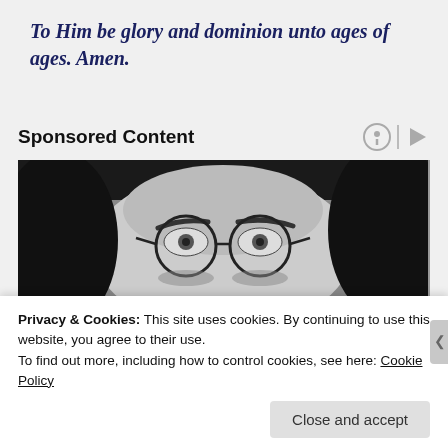To Him be glory and dominion unto ages of ages. Amen.
Sponsored Content
[Figure (photo): Black and white close-up photo of a person with dark hair and round glasses, showing the upper half of the face with eyes visible above the glasses frame.]
Privacy & Cookies: This site uses cookies. By continuing to use this website, you agree to their use.
To find out more, including how to control cookies, see here: Cookie Policy
Close and accept